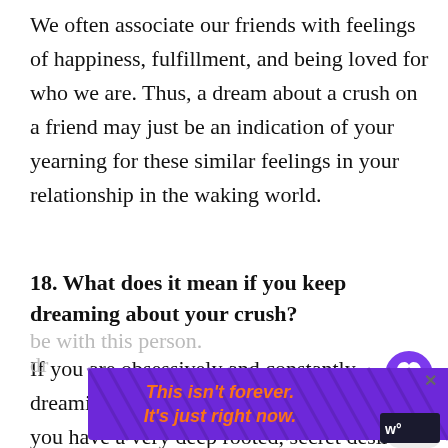We often associate our friends with feelings of happiness, fulfillment, and being loved for who we are. Thus, a dream about a crush on a friend may just be an indication of your yearning for these similar feelings in your relationship in the waking world.
18. What does it mean if you keep dreaming about your crush?
If you are obsessively and constantly dreaming about your crush, it means that you have a very deep rooted, secret desire be with this person. It's a very positive dr...
[Figure (other): Purple advertisement banner with diagonal lines pattern and text 'This isn't forever. It's just right now.' with a close button X. Also a heart/like button (purple circle with heart icon) showing count 89, and a share button.]